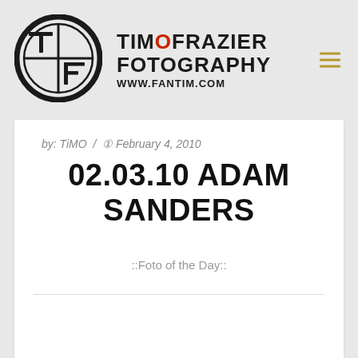[Figure (logo): TimoFrazier Fotography circular TF logo in black and white with thick circle border]
TIMOFRAZIER FOTOGRAPHY WWW.FANTIM.COM
by: TiMO / February 4, 2010
02.03.10 ADAM SANDERS
::Foto of the Day::